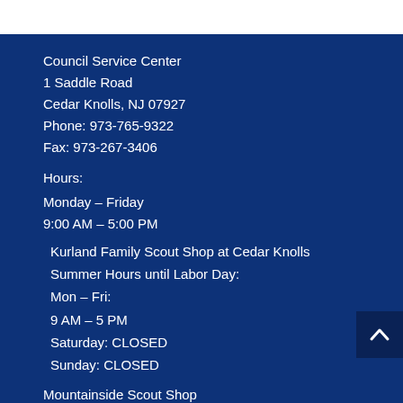Council Service Center
1 Saddle Road
Cedar Knolls, NJ 07927
Phone: 973-765-9322
Fax: 973-267-3406
Hours:
Monday – Friday
9:00 AM – 5:00 PM
Kurland Family Scout Shop at Cedar Knolls
Summer Hours until Labor Day:
Mon – Fri:
9 AM – 5 PM
Saturday: CLOSED
Sunday: CLOSED
Mountainside Scout Shop
Summer Hours until Labor Day: